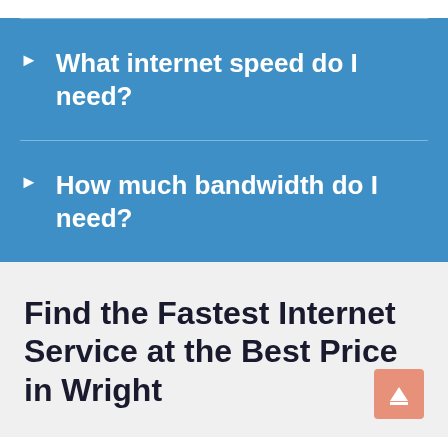What internet speed do I need?
How much bandwidth do I need?
Find the Fastest Internet Service at the Best Price in Wright